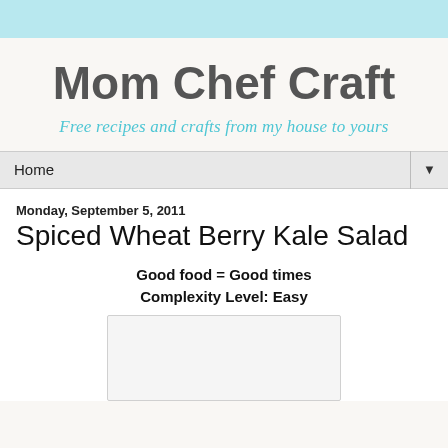Mom Chef Craft
Free recipes and crafts from my house to yours
Home
Monday, September 5, 2011
Spiced Wheat Berry Kale Salad
Good food = Good times
Complexity Level:  Easy
[Figure (other): Image placeholder box with border]